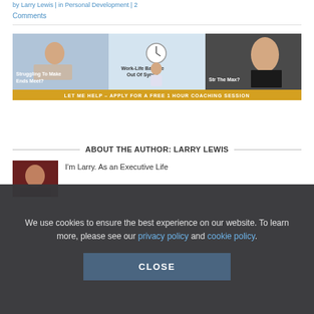by Larry Lewis | in Personal Development | 2 Comments
[Figure (infographic): Coaching banner with three panels: woman struggling to make ends meet, man with work-life balance out of sync, man smiling with text Stretch To The Max. Bottom bar reads: LET ME HELP – APPLY FOR A FREE 1 HOUR COACHING SESSION]
ABOUT THE AUTHOR: LARRY LEWIS
[Figure (photo): Headshot photo of Larry Lewis with dark reddish background]
I'm Larry. As an Executive Life
We use cookies to ensure the best experience on our website. To learn more, please see our privacy policy and cookie policy.
CLOSE